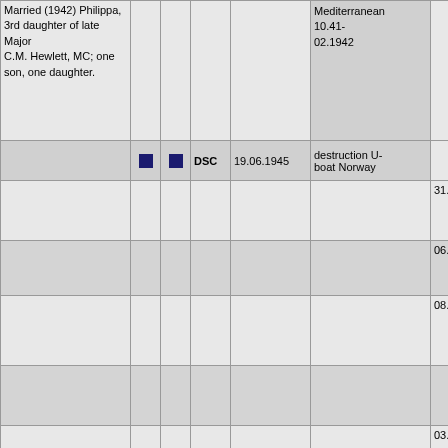| Personal Info |  |  | Award | Date | Action/Location | Date2 |
| --- | --- | --- | --- | --- | --- | --- |
| Married (1942) Philippa, 3rd daughter of late Major C.M. Hewlett, MC; one son, one daughter. |  |  | Mediterranean 10.41-02.1942 |  |  |  |
|  | [blue] | [blue] | DSC | 19.06.1945 | destruction U-boat Norway |  |
|  |  |  |  |  |  | 31.1... |
|  |  |  |  |  |  | 06.0... |
|  |  |  |  |  |  | 08.0... |
|  |  |  |  |  |  | 03.1... |
|  |  |  |  |  |  | 28.1... |